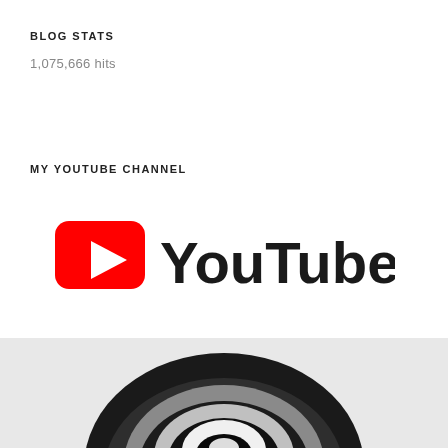BLOG STATS
1,075,666 hits
MY YOUTUBE CHANNEL
[Figure (logo): YouTube logo with red play button icon and YouTube wordmark in dark text]
[Figure (photo): Black and white close-up photo of a microphone or round object showing reflective curved surfaces]